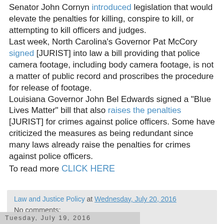Senator John Cornyn introduced legislation that would elevate the penalties for killing, conspire to kill, or attempting to kill officers and judges. Last week, North Carolina's Governor Pat McCory signed [JURIST] into law a bill providing that police camera footage, including body camera footage, is not a matter of public record and proscribes the procedure for release of footage. Louisiana Governor John Bel Edwards signed a "Blue Lives Matter" bill that also raises the penalties [JURIST] for crimes against police officers. Some have criticized the measures as being redundant since many laws already raise the penalties for crimes against police officers. To read more CLICK HERE
Law and Justice Policy at Wednesday, July 20, 2016
No comments:
Tuesday, July 19, 2016